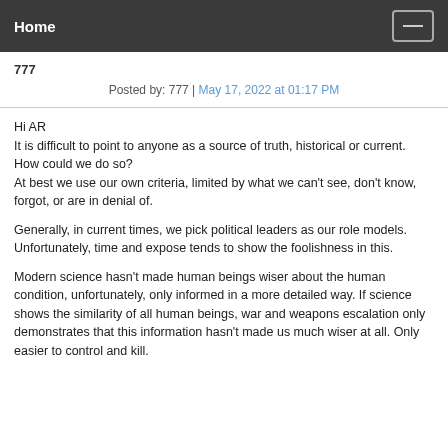Home
777
Posted by: 777 | May 17, 2022 at 01:17 PM
Hi AR
It is difficult to point to anyone as a source of truth, historical or current. How could we do so?
At best we use our own criteria, limited by what we can't see, don't know, forgot, or are in denial of.

Generally, in current times, we pick political leaders as our role models. Unfortunately, time and expose tends to show the foolishness in this.

Modern science hasn't made human beings wiser about the human condition, unfortunately, only informed in a more detailed way. If science shows the similarity of all human beings, war and weapons escalation only demonstrates that this information hasn't made us much wiser at all. Only easier to control and kill.